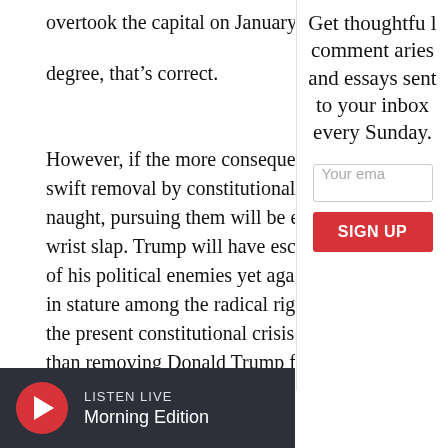overtook the capital on January 6. To degree, that's correct.
However, if the more consequential a swift removal by constitutional mear naught, pursuing them will be even l wrist slap. Trump will have escaped t of his political enemies yet again, an in stature among the radical right. D the present constitutional crisis requ than removing Donald Trump from c requires creating the conditions for e politics to marginalize opponents of constitutional government.
Get thoughtful commentaries and essays sent to your inbox every Sunday.
Your ema
SIGN UP
LISTEN LIVE Morning Edition